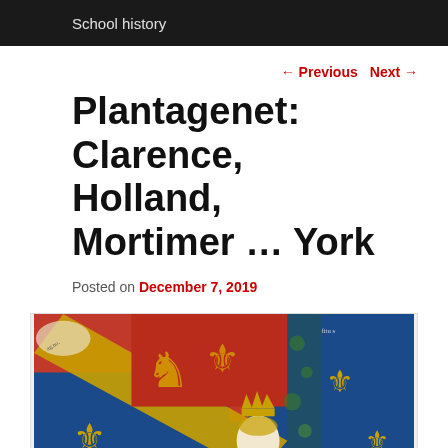School history
← Previous   Next →
Plantagenet: Clarence, Holland, Mortimer … York
Posted on December 7, 2019
[Figure (illustration): Medieval illuminated manuscript painting showing a crowned figure in blue and gold heraldic robes, with heraldic banners featuring fleur-de-lis in blue and gold, and red background with golden lions/dragons. Decorative foliage on right side.]